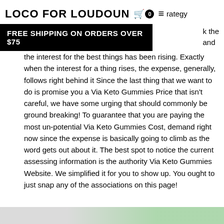LOCO FOR LOUDOUN  🛒 0  ≡  rategy
FREE SHIPPING ON ORDERS OVER $75   the  and
the interest for the best things has been rising. Exactly when the interest for a thing rises, the expense, generally, follows right behind it Since the last thing that we want to do is promise you a Via Keto Gummies Price that isn't careful, we have some urging that should commonly be ground breaking! To guarantee that you are paying the most un-potential Via Keto Gummies Cost, demand right now since the expense is basically going to climb as the word gets out about it. The best spot to notice the current assessing information is the authority Via Keto Gummies Website. We simplified it for you to show up. You ought to just snap any of the associations on this page!